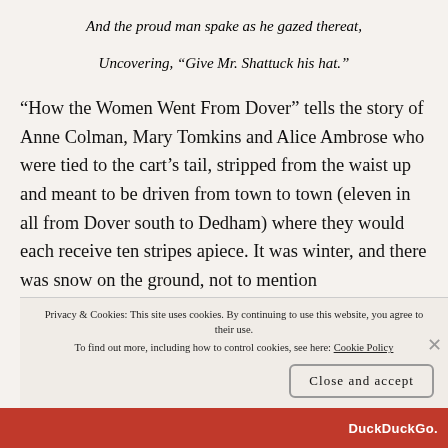And the proud man spake as he gazed thereat,
Uncovering, “Give Mr. Shattuck his hat.”
“How the Women Went From Dover” tells the story of Anne Colman, Mary Tomkins and Alice Ambrose who were tied to the cart’s tail, stripped from the waist up and meant to be driven from town to town (eleven in all from Dover south to Dedham) where they would each receive ten stripes apiece. It was winter, and there was snow on the ground, not to mention
Privacy & Cookies: This site uses cookies. By continuing to use this website, you agree to their use.
To find out more, including how to control cookies, see here: Cookie Policy
Close and accept